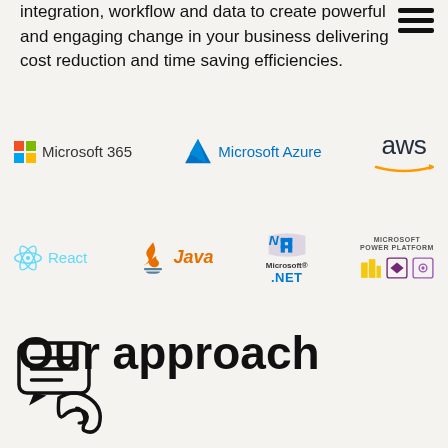integration, workflow and data to create powerful and engaging change in your business delivering cost reduction and time saving efficiencies.
[Figure (logo): Logos row 1: Microsoft 365, Microsoft Azure, AWS]
[Figure (logo): Logos row 2: React, Java, Microsoft .NET, Microsoft Power Platform]
Our approach
[Figure (illustration): Icon of chat bubble with lines and ear, representing listening/communication]